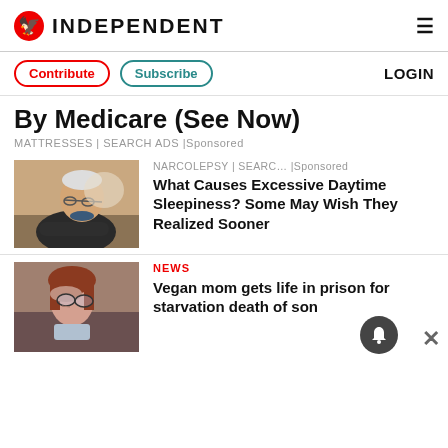INDEPENDENT
Contribute | Subscribe | LOGIN
By Medicare (See Now)
MATTRESSES | SEARCH ADS | Sponsored
[Figure (photo): Elderly man asleep in a chair with arms crossed, wearing dark sweater]
NARCOLEPSY | SEARC… | Sponsored
What Causes Excessive Daytime Sleepiness? Some May Wish They Realized Sooner
[Figure (photo): Woman with glasses holding her head in distress]
NEWS
Vegan mom gets life in prison for starvation death of son